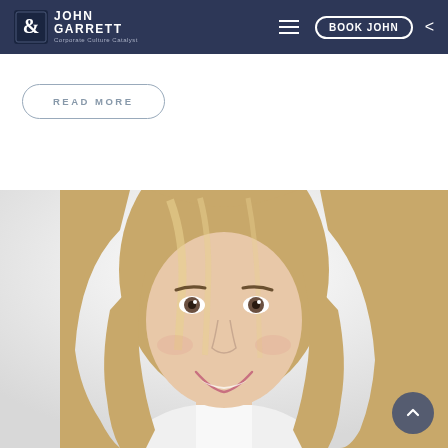[Figure (screenshot): John Garrett Corporate Culture Catalyst website navigation bar with logo, hamburger menu, Book John button, and back arrow on dark navy background]
READ MORE
[Figure (photo): Smiling middle-aged woman with shoulder-length blonde hair wearing a white top, photographed against a light grey/white background]